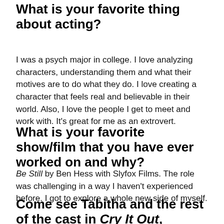What is your favorite thing about acting?
I was a psych major in college. I love analyzing characters, understanding them and what their motives are to do what they do. I love creating a character that feels real and believable in their world. Also, I love the people I get to meet and work with. It's great for me as an extrovert.
What is your favorite show/film that you have ever worked on and why?
Be Still by Ben Hess with Slyfox Films. The role was challenging in a way I haven't experienced before. I got to explore a whole new side of myself.
Come see Tabitha and the rest of the cast in Cry It Out, opening